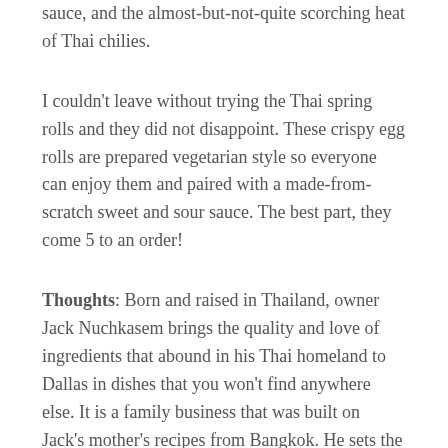sauce, and the almost-but-not-quite scorching heat of Thai chilies.
I couldn't leave without trying the Thai spring rolls and they did not disappoint. These crispy egg rolls are prepared vegetarian style so everyone can enjoy them and paired with a made-from-scratch sweet and sour sauce. The best part, they come 5 to an order!
Thoughts: Born and raised in Thailand, owner Jack Nuchkasem brings the quality and love of ingredients that abound in his Thai homeland to Dallas in dishes that you won't find anywhere else. It is a family business that was built on Jack's mother's recipes from Bangkok. He sets the standard for a mind-bending spice infused menu, importing all ingredients from Thailand to uphold his vision of embracing American culture while staying true to the food of his childhood.
The core menu plus rotating offerings allow you to explore the staples of Bangkok and to push your palate with dishes you'd